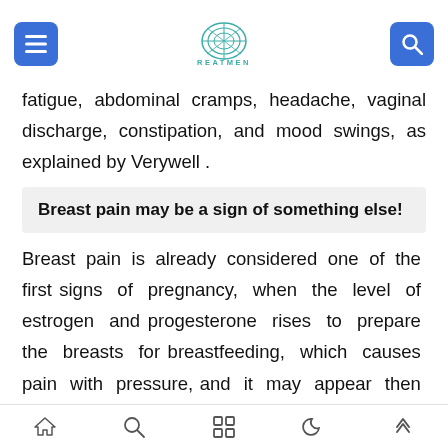TREATMENT
fatigue, abdominal cramps, headache, vaginal discharge, constipation, and mood swings, as explained by Verywell .
Breast pain may be a sign of something else!
Breast pain is already considered one of the first signs of pregnancy, when the level of estrogen and progesterone rises to prepare the breasts for breastfeeding, which causes pain with pressure, and it may appear then in less than one to two